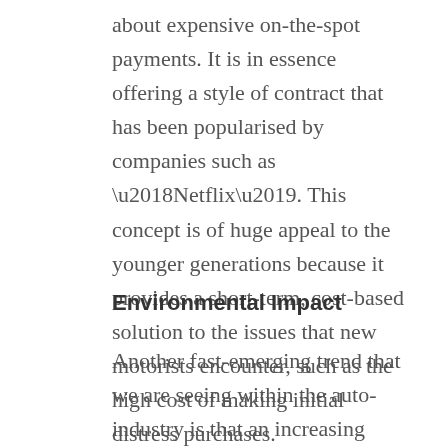about expensive on-the-spot payments. It is in essence offering a style of contract that has been popularised by companies such as ‘Netflix’. This concept is of huge appeal to the younger generations because it provides a short-term, cost-based solution to the issues that new motorists encounter, such as the high cost of making initial distress purchases.
Environmental Impact
Another fast-emerging trend that we are seeing within the auto-industry is that an increasing number of companies are